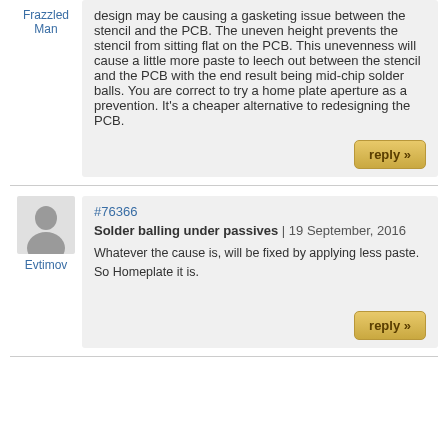Frazzled Man
design may be causing a gasketing issue between the stencil and the PCB. The uneven height prevents the stencil from sitting flat on the PCB. This unevenness will cause a little more paste to leech out between the stencil and the PCB with the end result being mid-chip solder balls. You are correct to try a home plate aperture as a prevention. It's a cheaper alternative to redesigning the PCB.
reply »
#76366
Solder balling under passives | 19 September, 2016
Evtimov
Whatever the cause is, will be fixed by applying less paste. So Homeplate it is.
reply »